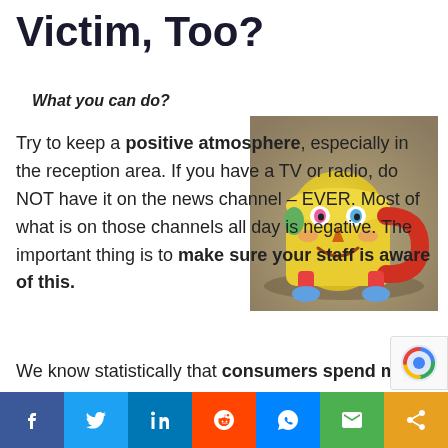Victim, Too?
What you can do?
[Figure (photo): A colorful ceramic mug character shaped like a smiley face with arms, legs wearing blue shoes, and a red handle, sitting outdoors on a blurred background.]
Try to keep a positive atmosphere, especially in the reception area. If you have a TV or radio, do NOT have it on the news channel – EVER. Most of what is on those channels all day is negative. The important thing is to make sure your staff is aware of this.
We know statistically that consumers spend m